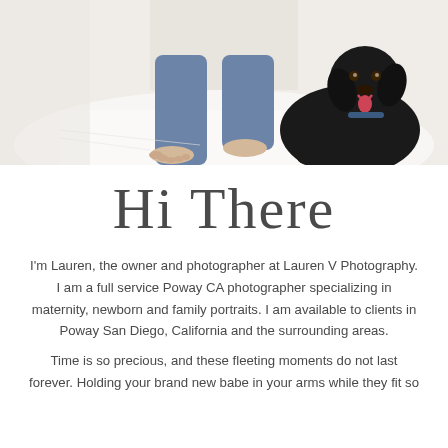[Figure (photo): A partial photograph showing the lower body of a person sitting barefoot in blue jeans on a white fluffy rug, with a black Labrador dog sitting beside them, looking at the camera and appearing to pant/smile.]
Hi There
I'm Lauren, the owner and photographer at Lauren V Photography. I am a full service Poway CA photographer specializing in maternity, newborn and family portraits. I am available to clients in Poway San Diego, California and the surrounding areas.
Time is so precious, and these fleeting moments do not last forever. Holding your brand new babe in your arms while they fit so